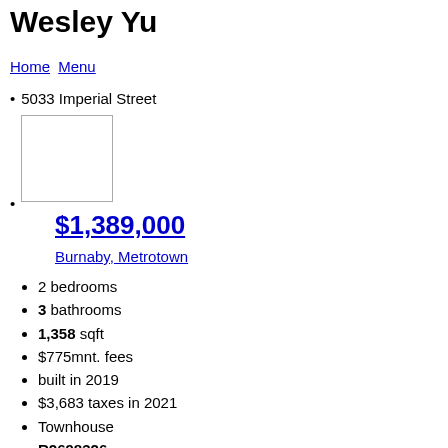Wesley Yu
Home Menu
5033 Imperial Street
[Figure (photo): Property image placeholder (blank white box with border)]
$1,389,000
Burnaby, Metrotown
2 bedrooms
3 bathrooms
1,358 sqft
$775mnt. fees
built in 2019
$3,683 taxes in 2021
Townhouse
R2698326